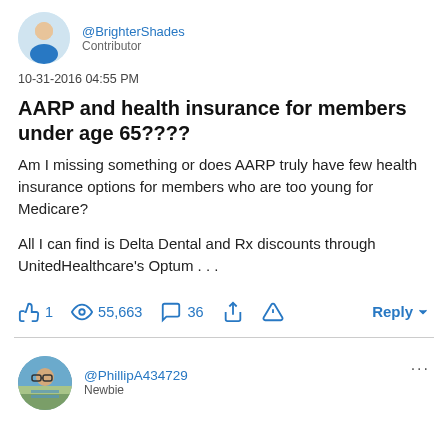[Figure (illustration): User avatar: cartoon-style person with blue shirt, top of page]
@BrighterShades
Contributor
10-31-2016 04:55 PM
AARP and health insurance for members under age 65????
Am I missing something or does AARP truly have few health insurance options for members who are too young for Medicare?
All I can find is Delta Dental and Rx discounts through UnitedHealthcare's Optum . . .
👍 1   👁 55,663   💬 36   ↗   ⚠   Reply
[Figure (illustration): Second user avatar: cartoon-style person with glasses and striped shirt]
@PhillipA434729
Newbie